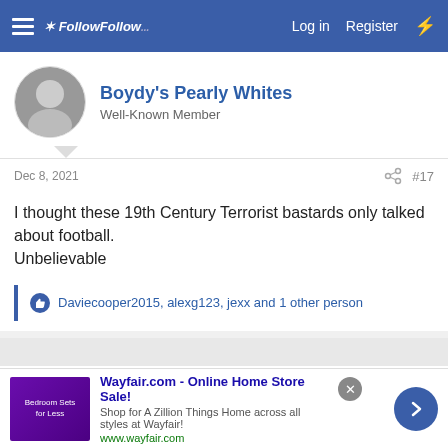FollowFollow — Log in  Register
Boydy's Pearly Whites
Well-Known Member
Dec 8, 2021  #17
I thought these 19th Century Terrorist bastards only talked about football.
Unbelievable
Daviecooper2015, alexg123, jexx and 1 other person
GimmeShelter
Wayfair.com - Online Home Store Sale! Shop for A Zillion Things Home across all styles at Wayfair! www.wayfair.com